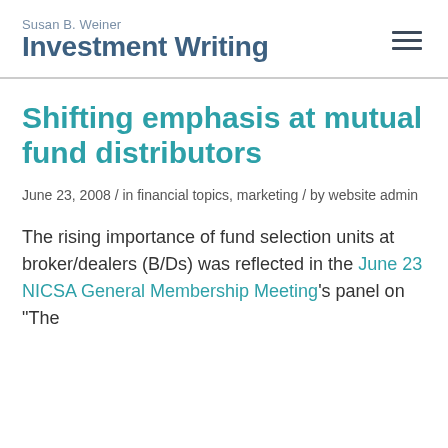Susan B. Weiner Investment Writing
Shifting emphasis at mutual fund distributors
June 23, 2008 / in financial topics, marketing / by website admin
The rising importance of fund selection units at broker/dealers (B/Ds) was reflected in the June 23 NICSA General Membership Meeting's panel on "The